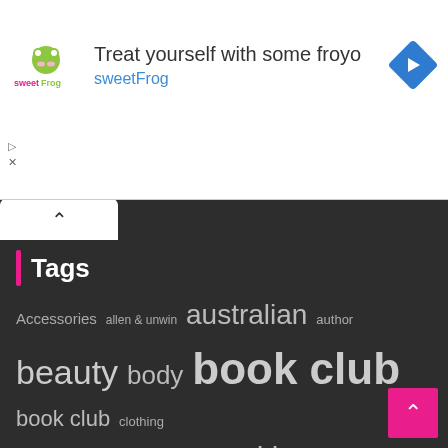[Figure (infographic): sweetFrog frozen yogurt advertisement banner with logo, text 'Treat yourself with some froyo sweetFrog', and a blue diamond navigation arrow icon]
Tags
Accessories  allen & unwin  australian  author  beauty  body  book club  book club  clothing  contemporary  cooking  CRIME  dessert  eco-friendly  face  family  FASHION  food  friendship  hachette  harlequin  harper collins  health  historical  interview  lifestyle  living  mira  moisturiser  music  natural  natural skincare  pan macmillan  POPULAR FICTION  recipe  relationships